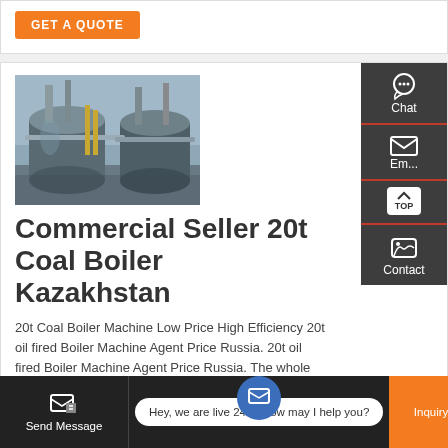GET A QUOTE
[Figure (photo): Industrial boilers/steam generators in a factory setting, metallic cylindrical vessels with pipes and insulation]
Commercial Seller 20t Coal Boiler Kazakhstan
20t Coal Boiler Machine Low Price High Efficiency 20t oil fired Boiler Machine Agent Price Russia. 20t oil fired Boiler Machine Agent Price Russia. The whole set of equipment consists of a coal-fired hot blast stove an inlet and outlet equipment a rotary drum dryer high and low temperature pipelines a dust removal system a lifting conveying system a finished product cooling system and a
Chat
Email
Contact
Send Message
Hey, we are live 24/7. How may I help you?
Inquiry Online